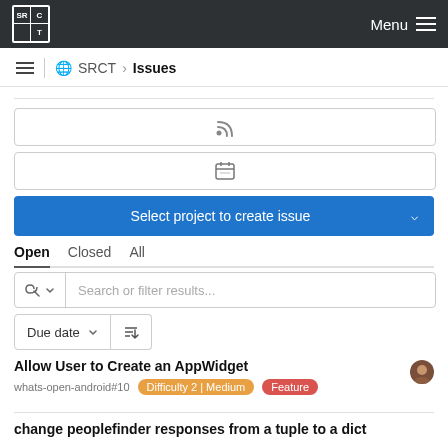SRCT Menu
SRCT > Issues
[Figure (screenshot): RSS feed icon input box]
[Figure (screenshot): Calendar icon input box]
Select project to create issue
Open  Closed  All
Search or filter results...
Due date
Allow User to Create an AppWidget
whats-open-android#10  Difficulty 2 | Medium  Feature
change peoplefinder responses from a tuple to a dict